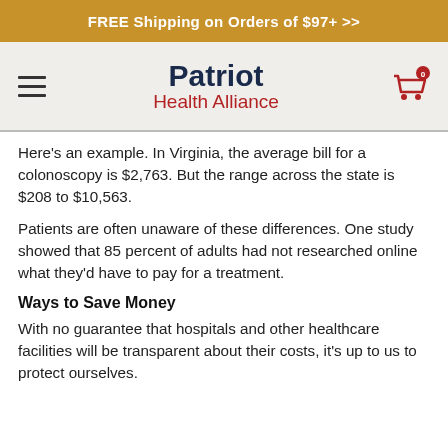FREE Shipping on Orders of $97+ >>
[Figure (logo): Patriot Health Alliance logo with hamburger menu and shopping cart icon showing 0 items]
Here's an example. In Virginia, the average bill for a colonoscopy is $2,763. But the range across the state is $208 to $10,563.
Patients are often unaware of these differences. One study showed that 85 percent of adults had not researched online what they'd have to pay for a treatment.
Ways to Save Money
With no guarantee that hospitals and other healthcare facilities will be transparent about their costs, it's up to us to protect ourselves.